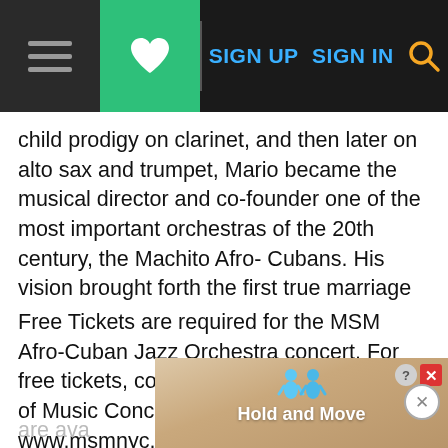SIGN UP   SIGN IN
child prodigy on clarinet, and then later on alto sax and trumpet, Mario became the musical director and co-founder one of the most important orchestras of the 20th century, the Machito Afro- Cubans. His vision brought forth the first true marriage of Afro- Cuban rhythms and jazz arranging technique in 1943 with his composition, Tanga.
Free Tickets are required for the MSM Afro-Cuban Jazz Orchestra concert. For free tickets, contact the Manhattan School of Music Concert Office at www.msmnyc.edu or by calling 917.493.4428. Tickets are ava
[Figure (other): Advertisement banner overlay at the bottom showing 'Hold and Move' text with cartoon figures, with close/help buttons in top right corner]